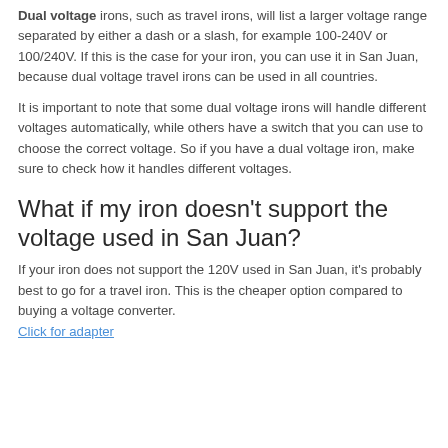Dual voltage irons, such as travel irons, will list a larger voltage range separated by either a dash or a slash, for example 100-240V or 100/240V. If this is the case for your iron, you can use it in San Juan, because dual voltage travel irons can be used in all countries.
It is important to note that some dual voltage irons will handle different voltages automatically, while others have a switch that you can use to choose the correct voltage. So if you have a dual voltage iron, make sure to check how it handles different voltages.
What if my iron doesn't support the voltage used in San Juan?
If your iron does not support the 120V used in San Juan, it's probably best to go for a travel iron. This is the cheaper option compared to buying a voltage converter. Click for adapter